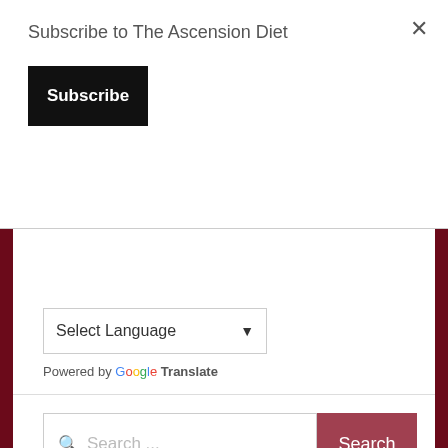Subscribe to The Ascension Diet
×
Subscribe
[Figure (screenshot): Select Language dropdown widget with Google Translate branding]
Powered by Google Translate
[Figure (screenshot): Search input box with placeholder text 'Search ...' and a Search button]